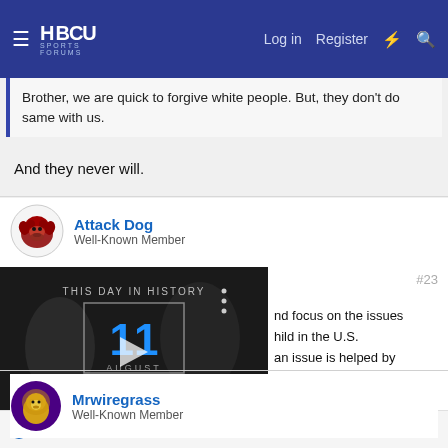HBCU Sports Forums — Log in | Register
Brother, we are quick to forgive white people. But, they don't do same with us.
And they never will.
Attack Dog
Well-Known Member
[Figure (screenshot): Embedded video player showing 'THIS DAY IN HISTORY' with date '11 AUGUST' in blue numerals, play button, mute icon, and progress bar]
...nd focus on the issues
...hild in the U.S.
...an issue is helped by
#23
👍 Mrwiregrass
Mrwiregrass
Well-Known Member